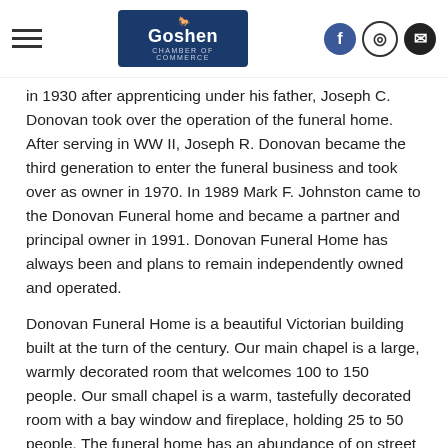Goshen Chamber of Commerce
in 1930 after apprenticing under his father, Joseph C. Donovan took over the operation of the funeral home. After serving in WW II, Joseph R. Donovan became the third generation to enter the funeral business and took over as owner in 1970. In 1989 Mark F. Johnston came to the Donovan Funeral home and became a partner and principal owner in 1991. Donovan Funeral Home has always been and plans to remain independently owned and operated.
Donovan Funeral Home is a beautiful Victorian building built at the turn of the century. Our main chapel is a large, warmly decorated room that welcomes 100 to 150 people. Our small chapel is a warm, tastefully decorated room with a bay window and fireplace, holding 25 to 50 people. The funeral home has an abundance of on street parking as well as a small lot in the rear. There is a handicap ramp at the rear of the building. Our Casket Selection Room is a large, well lit room with a wide selection of wood and metal caskets, concrete